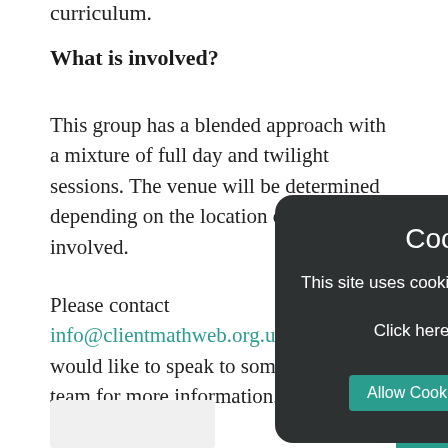curriculum.
What is involved?
This group has a blended approach with a mixture of full day and twilight sessions. The venue will be determined depending on the location of the schools involved.
Please contact info@[redacted].org.uk if you would like to speak to someone from our team for more information.
This Work Group
[Figure (screenshot): Cookie Policy modal dialog with dark background, showing title 'Cookie Policy', body text 'This site uses cookies to store information on your computer. Click here for more information', and two buttons: 'Allow Cookies' and 'Deny Cookies'. A teal X close button is visible at top.]